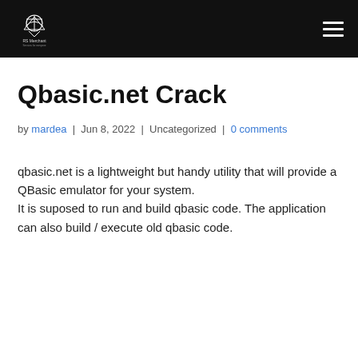RS Merchant
Qbasic.net Crack
by mardea | Jun 8, 2022 | Uncategorized | 0 comments
qbasic.net is a lightweight but handy utility that will provide a QBasic emulator for your system.
It is suposed to run and build qbasic code. The application can also build / execute old qbasic code.